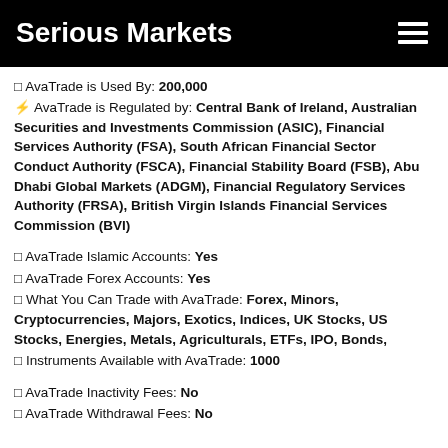Serious Markets
⬜ AvaTrade is Used By: 200,000
⚡ AvaTrade is Regulated by: Central Bank of Ireland, Australian Securities and Investments Commission (ASIC), Financial Services Authority (FSA), South African Financial Sector Conduct Authority (FSCA), Financial Stability Board (FSB), Abu Dhabi Global Markets (ADGM), Financial Regulatory Services Authority (FRSA), British Virgin Islands Financial Services Commission (BVI)
⬜ AvaTrade Islamic Accounts: Yes
⬜ AvaTrade Forex Accounts: Yes
⬜ What You Can Trade with AvaTrade: Forex, Minors, Cryptocurrencies, Majors, Exotics, Indices, UK Stocks, US Stocks, Energies, Metals, Agriculturals, ETFs, IPO, Bonds,
⬜ Instruments Available with AvaTrade: 1000
⬜ AvaTrade Inactivity Fees: No
⬜ AvaTrade Withdrawal Fees: No